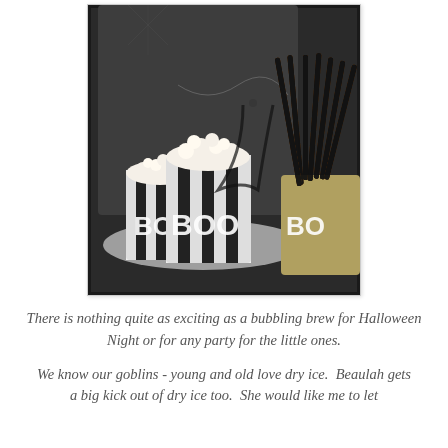[Figure (photo): Halloween party table decoration photo showing silver and black striped buckets labeled 'BOO' filled with popcorn, and a container full of orange and black striped paper straws, set against a dark ornate mirror background.]
There is nothing quite as exciting as a bubbling brew for Halloween Night or for any party for the little ones.
We know our goblins - young and old love dry ice.  Beaulah gets a big kick out of dry ice too.  She would like me to let